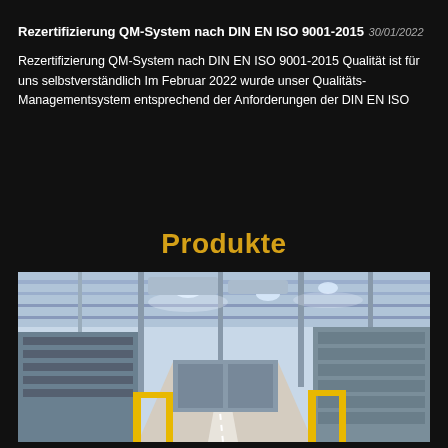Rezertifizierung QM-System nach DIN EN ISO 9001-2015
30/01/2022
Rezertifizierung QM-System nach DIN EN ISO 9001-2015 Qualität ist für uns selbstverständlich Im Februar 2022 wurde unser Qualitäts-Managementsystem entsprechend der Anforderungen der DIN EN ISO
Produkte
[Figure (photo): Interior view of a large industrial manufacturing facility with high ceilings, metal structural beams, ductwork, bright overhead lighting, yellow safety barriers along a central aisle, and industrial equipment on both sides.]